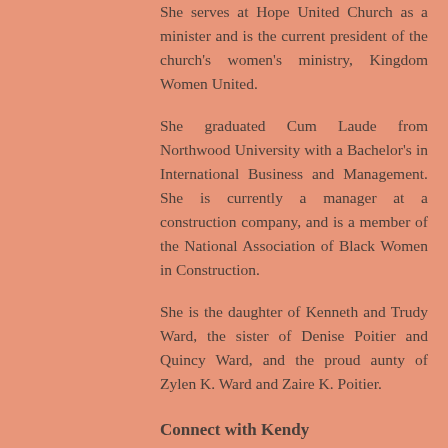She serves at Hope United Church as a minister and is the current president of the church's women’s ministry, Kingdom Women United.
She graduated Cum Laude from Northwood University with a Bachelor’s in International Business and Management. She is currently a manager at a construction company, and is a member of the National Association of Black Women in Construction.
She is the daughter of Kenneth and Trudy Ward, the sister of Denise Poitier and Quincy Ward, and the proud aunty of Zylen K. Ward and Zaire K. Poitier.
Connect with Kendy